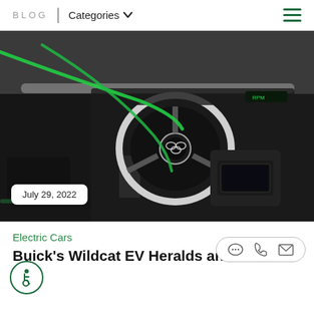BLOG | Categories
[Figure (photo): Interior of a Buick Wildcat EV concept car showing the steering wheel with Buick logo, futuristic dashboard, and green accent lighting cables across the cockpit. Date badge shows July 29, 2022.]
July 29, 2022
Electric Cars
Buick's Wildcat EV Heralds an All-